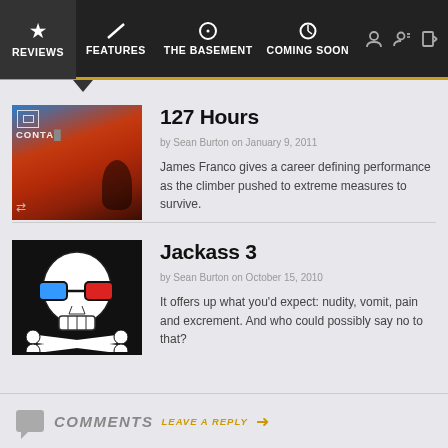REVIEWS | FEATURES | THE BASEMENT | COMING SOON
[Figure (screenshot): Thumbnail for 127 Hours review showing a climber in a canyon, dark red/blue tones, with CONTACT text overlay]
127 Hours
by Sean Burton on January 9, 2011
James Franco gives a career defining performance as the climber pushed to extreme measures to survive.
[Figure (illustration): Thumbnail for Jackass 3 showing a skull wearing 3D glasses (blue and red lenses) with crossed bones, on black background]
Jackass 3
by Sean Burton on October 15, 2010
It offers up what you'd expect: nudity, vomit, pain and excrement. And who could possibly say no to that?
COMMENTS LEAVE A REPLY →